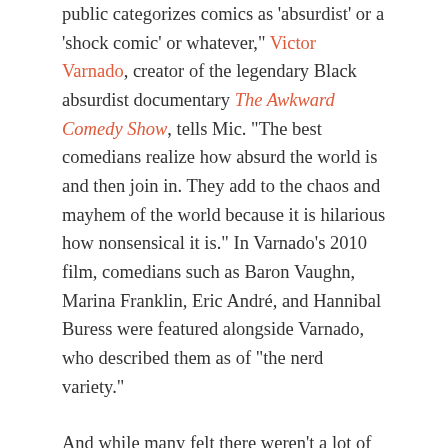public categorizes comics as 'absurdist' or a 'shock comic' or whatever," Victor Varnado, creator of the legendary Black absurdist documentary The Awkward Comedy Show, tells Mic. "The best comedians realize how absurd the world is and then join in. They add to the chaos and mayhem of the world because it is hilarious how nonsensical it is." In Varnado's 2010 film, comedians such as Baron Vaughn, Marina Franklin, Eric André, and Hannibal Buress were featured alongside Varnado, who described them as of "the nerd variety."
And while many felt there weren't a lot of Black comedians who shared this similar vibe, those who moved to New York during the rise of Buress, Jermaine Fowler, and Nicole Byer would disagree. They'd say they were following a rich tradition within the space that had begun long before them.
"Absurdism has always been a strain in Black comedic